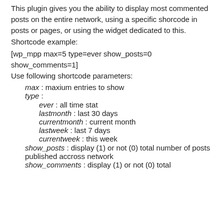This plugin gives you the ability to display most commented posts on the entire network, using a specific shorcode in posts or pages, or using the widget dedicated to this.
Shortcode example:
[wp_mpp max=5 type=ever show_posts=0 show_comments=1]
Use following shortcode parameters:
max : maxium entries to show
type :
ever : all time stat
lastmonth : last 30 days
currentmonth : current month
lastweek : last 7 days
currentweek : this week
show_posts : display (1) or not (0) total number of posts published accross network
show_comments : display (1) or not (0) total